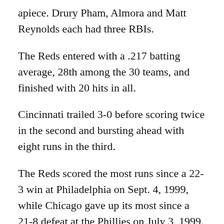apiece. Drury Pham, Almora and Matt Reynolds each had three RBIs.
The Reds entered with a .217 batting average, 28th among the 30 teams, and finished with 20 hits in all.
Cincinnati trailed 3-0 before scoring twice in the second and bursting ahead with eight runs in the third.
The Reds scored the most runs since a 22-3 win at Philadelphia on Sept. 4, 1999, while Chicago gave up its most since a 21-8 defeat at the Phillies on July 3, 1999.
Cubs shortstop Andrelton Simmons made his big league pitching debut, allowing five runs in the eighth.